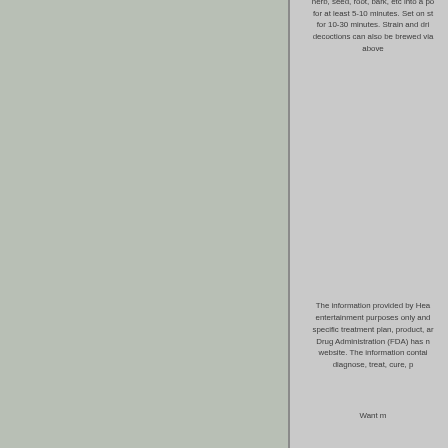herb, seed, root, bark, etc into a pot for at least 5-10 minutes. Set on ste for 10-30 minutes. Strain and dri decoctions can also be brewed via above
The information provided by Hea entertainment purposes only and specific treatment plan, product, ar Drug Administration (FDA) has n website. The information contai diagnose, treat, cure, p
Want m
This product was adde
*Please select the quantity for each it below.